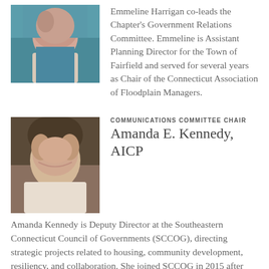[Figure (photo): Headshot photo of Emmeline Harrigan, a woman in a teal/blue cardigan]
Emmeline Harrigan co-leads the Chapter's Government Relations Committee. Emmeline is Assistant Planning Director for the Town of Fairfield and served for several years as Chair of the Connecticut Association of Floodplain Managers.
COMMUNICATIONS COMMITTEE CHAIR
Amanda E. Kennedy, AICP
[Figure (photo): Headshot photo of Amanda E. Kennedy, a woman with dark hair, smiling]
Amanda Kennedy is Deputy Director at the Southeastern Connecticut Council of Governments (SCCOG), directing strategic projects related to housing, community development, resiliency, and collaboration. She joined SCCOG in 2015 after working as Connecticut Director for the Regional Plan Association in Stamford/New York City, and Development Coordinator for The Simon Konover Company in West Hartford. Amanda holds a B.A. from Yale